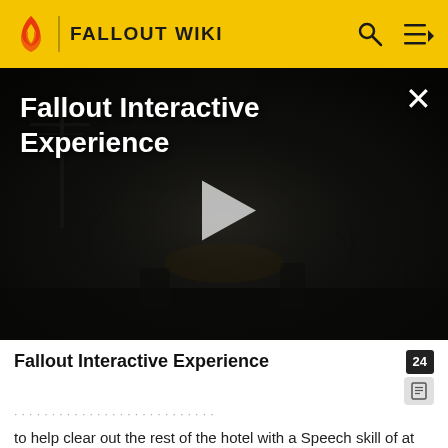FALLOUT WIKI
[Figure (screenshot): Dark video thumbnail showing a post-apocalyptic scene with bare trees and fog. Title text 'Fallout Interactive Experience' appears in white at top left. A large white play button triangle is centered. An X close button appears at top right.]
Fallout Interactive Experience
to help clear out the rest of the hotel with a Speech skill of at least 25. If he is spoken to before exiting the hotel and the Courier offers to give him a gun, his